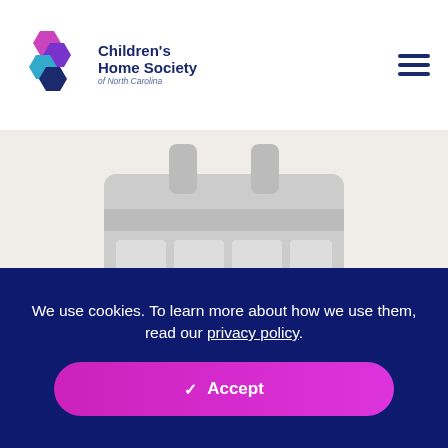Children's Home Society of North Carolina
[Figure (illustration): A large grey calendar icon on a light beige/grey background, showing a calendar grid with 3 rows of 4 cells and rings at the top]
We use cookies. To learn more about how we use them, read our privacy policy.
✓ Accept